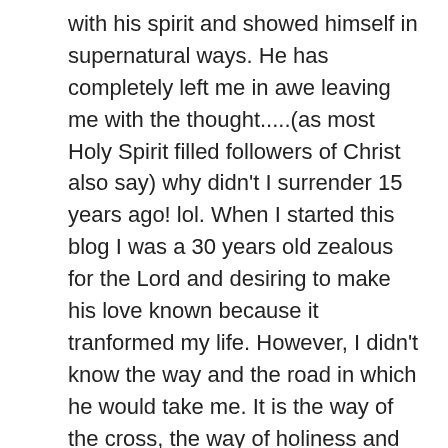with his spirit and showed himself in supernatural ways. He has completely left me in awe leaving me with the thought.....(as most Holy Spirit filled followers of Christ also say) why didn't I surrender 15 years ago! lol. When I started this blog I was a 30 years old zealous for the Lord and desiring to make his love known because it tranformed my life. However, I didn't know the way and the road in which he would take me. It is the way of the cross, the way of holiness and the way of love. Living a life seperated from the world and compltely concecrated to him. I no longer belong to myself, but to him as he has led me to a life of hiddeness and deep intimacy I didn't know was so avalialble for all who would make their lives,